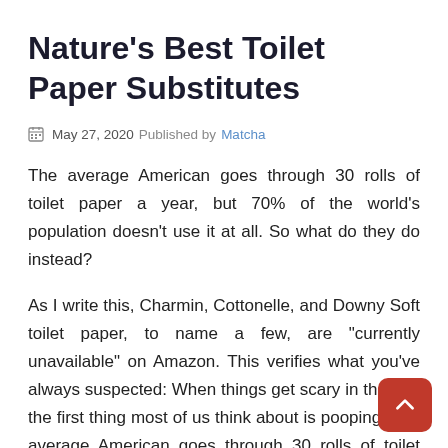Nature’s Best Toilet Paper Substitutes
May 27, 2020 Published by Matcha
The average American goes through 30 rolls of toilet paper a year, but 70% of the world’s population doesn’t use it at all. So what do they do instead?
As I write this, Charmin, Cottonelle, and Downy Soft toilet paper, to name a few, are “currently unavailable” on Amazon. This verifies what you’ve always suspected: When things get scary in the US, the first thing most of us think about is pooping. The average American goes through 30 rolls of toilet paper a year, which is kind of impressive but still not a reason to stock an entire wall of your basement with them. Seventy percent of the world’s population